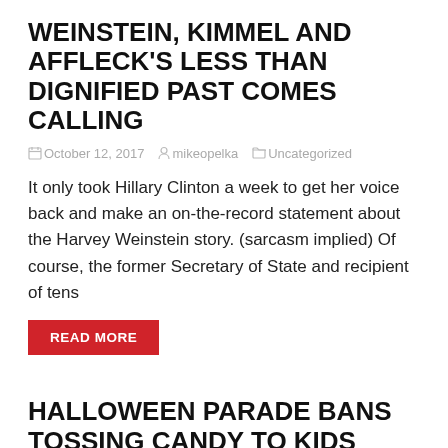WEINSTEIN, KIMMEL AND AFFLECK'S LESS THAN DIGNIFIED PAST COMES CALLING
October 12, 2017   mikeopelka   Uncategorized
It only took Hillary Clinton a week to get her voice back and make an on-the-record statement about the Harvey Weinstein story. (sarcasm implied) Of course, the former Secretary of State and recipient of tens
READ MORE
HALLOWEEN PARADE BANS TOSSING CANDY TO KIDS BECAUSE...YOU COULD PUT YOUR EYE OUT!
October 10, 2017   mikeopelka   Uncategorized